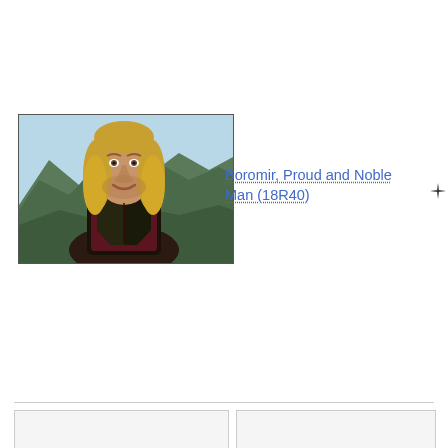[Figure (photo): Photo of Boromir (Sean Bean) from Lord of the Rings, a man with long blond hair wearing dark leather vest over burgundy clothing, with mountains in the background]
Boromir, Proud and Noble Man (18R40)